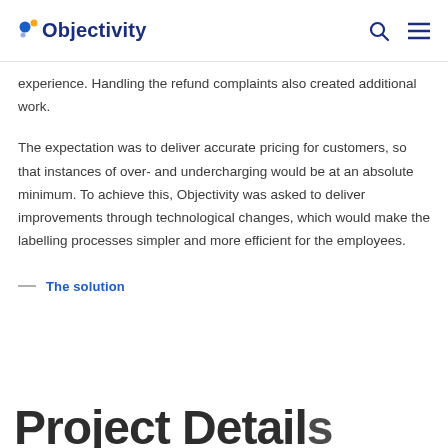Objectivity
experience. Handling the refund complaints also created additional work.
The expectation was to deliver accurate pricing for customers, so that instances of over- and undercharging would be at an absolute minimum. To achieve this, Objectivity was asked to deliver improvements through technological changes, which would make the labelling processes simpler and more efficient for the employees.
The solution
Project Details